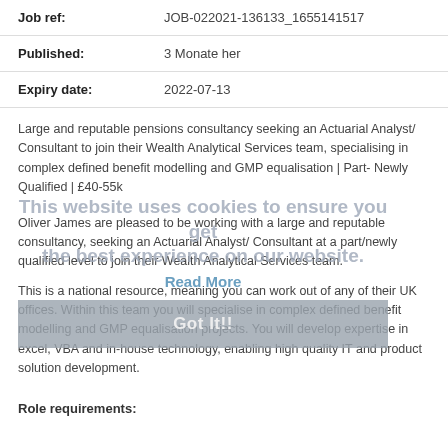| Job ref: | JOB-022021-136133_1655141517 |
| Published: | 3 Monate her |
| Expiry date: | 2022-07-13 |
Large and reputable pensions consultancy seeking an Actuarial Analyst/ Consultant to join their Wealth Analytical Services team, specialising in complex defined benefit modelling and GMP equalisation | Part- Newly Qualified | £40-55k
Oliver James are pleased to be working with a large and reputable consultancy, seeking an Actuarial Analyst/ Consultant at a part/newly qualified level to join their Wealth Analytical Services team.
This is a national resource, meaning you can work out of any of their UK offices. Within this team you will specialise in complex defined benefit modelling and GMP equalisation projects. You will develop expertise in excel, VBA and in-house technology, enabling high quality IT and product solution development.
This website uses cookies to ensure you get the best experience on our website.
Read More
Got It!!
Role requirements: